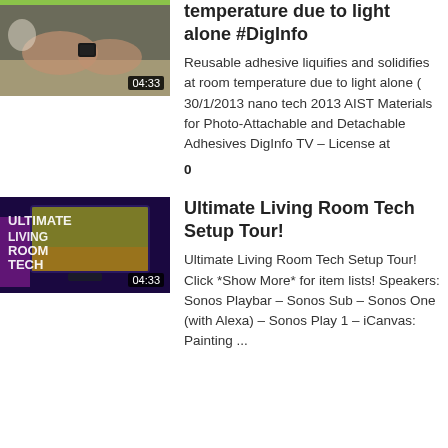[Figure (screenshot): Video thumbnail showing a person handling a small black object, with a green bar at the top and duration label 04:33]
temperature due to light alone #DigInfo
Reusable adhesive liquifies and solidifies at room temperature due to light alone ( 30/1/2013 nano tech 2013 AIST Materials for Photo-Attachable and Detachable Adhesives DigInfo TV – License at
0
[Figure (screenshot): Video thumbnail showing a large curved TV screen in a dark room with purple/pink lighting and overlaid text: ULTIMATE LIVING ROOM TECH, duration 04:33]
Ultimate Living Room Tech Setup Tour!
Ultimate Living Room Tech Setup Tour! Click *Show More* for item lists! Speakers: Sonos Playbar – Sonos Sub – Sonos One (with Alexa) – Sonos Play 1 – iCanvas: Painting ...